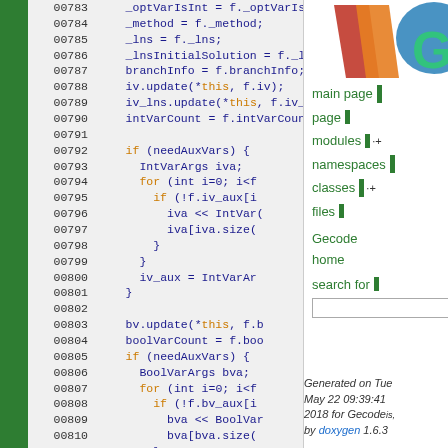[Figure (screenshot): Source code listing from Doxygen-generated documentation for Gecode, showing lines 00783-00812 of a C++ file. Left sidebar is dark green. Right sidebar shows Gecode logo, navigation links (main page, modules, namespaces, classes, files, Gecode home, search), and a footer indicating generated on Tue May 22 09:39:41 2018 for Gecode by doxygen 1.6.3.]